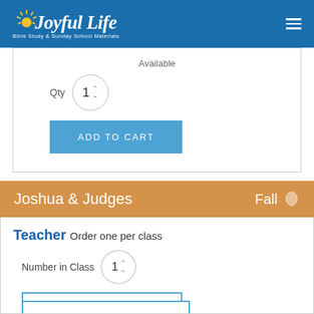Joyful Life – Bible Study & Sunday School Materials
Available
Qty  1
ADD TO CART
Joshua & Judges  Fall
Teacher Order one per class
Number in Class  1
PREFILL TEACHER QTY